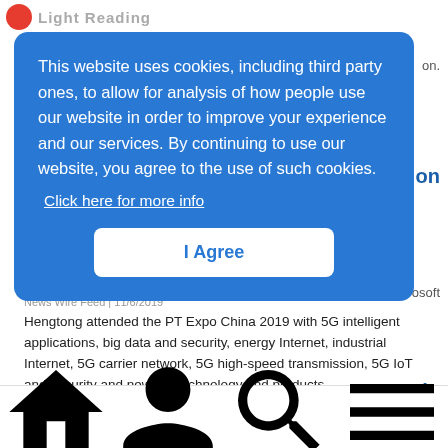Light Reading
This website uses cookies, including third party ones, to allow for analysis of how people use our website in order to improve your experience and our services. By continuing to use our website, you agree to the use of such cookies. Click here for more info
I Agree
News Wire Feed | 11/6/2019
Hengtong attended the PT Expo China 2019 with 5G intelligent applications, big data and security, energy Internet, industrial Internet, 5G carrier network, 5G high-speed transmission, 5G IoT and security and new 5G technology and products.
Verizon Adds Self-Service SD-WAN Option
HOME  Sign In  SEARCH  MORE